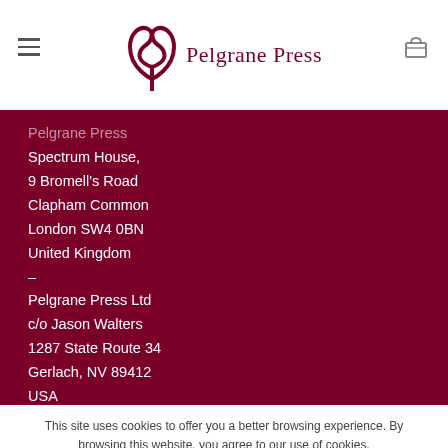Pelgrane Press
Pelgrane Press
Spectrum House,
9 Bromell's Road
Clapham Common
London SW4 0BN
United Kingdom
–
Pelgrane Press Ltd
c/o Jason Walters
1287 State Route 34
Gerlach, NV 89412
USA
This site uses cookies to offer you a better browsing experience. By browsing this website, you agree to our use of cookies.